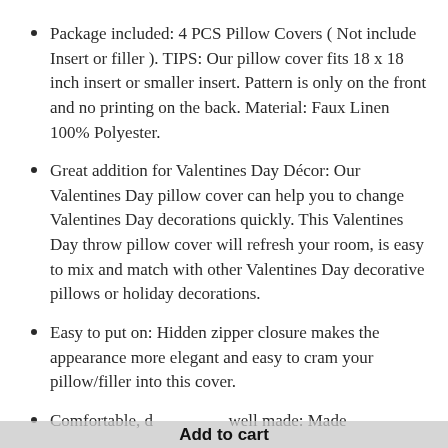Package included: 4 PCS Pillow Covers ( Not include Insert or filler ). TIPS: Our pillow cover fits 18 x 18 inch insert or smaller insert. Pattern is only on the front and no printing on the back. Material: Faux Linen 100% Polyester.
Great addition for Valentines Day Décor: Our Valentines Day pillow cover can help you to change Valentines Day decorations quickly. This Valentines Day throw pillow cover will refresh your room, is easy to mix and match with other Valentines Day decorative pillows or holiday decorations.
Easy to put on: Hidden zipper closure makes the appearance more elegant and easy to cram your pillow/filler into this cover.
Comfortable, durable and well made: Made